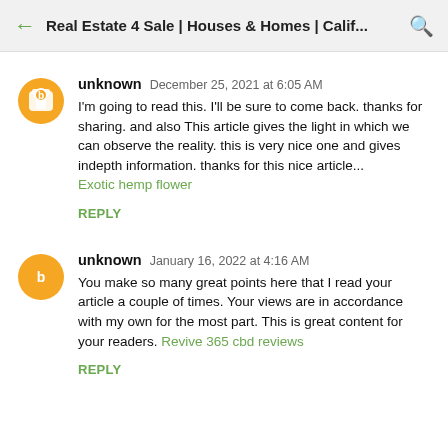Real Estate 4 Sale | Houses & Homes | Calif...
unknown  December 25, 2021 at 6:05 AM
I'm going to read this. I'll be sure to come back. thanks for sharing. and also This article gives the light in which we can observe the reality. this is very nice one and gives indepth information. thanks for this nice article... Exotic hemp flower
REPLY
unknown  January 16, 2022 at 4:16 AM
You make so many great points here that I read your article a couple of times. Your views are in accordance with my own for the most part. This is great content for your readers. Revive 365 cbd reviews
REPLY